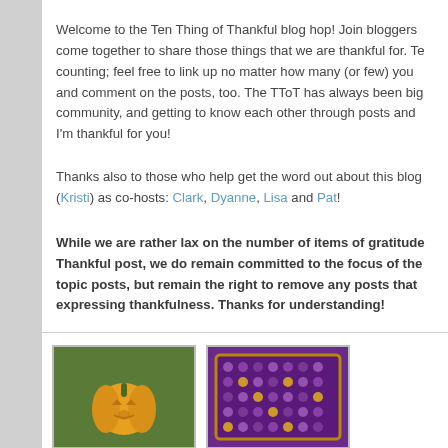Welcome to the Ten Thing of Thankful blog hop! Join bloggers come together to share those things that we are thankful for. Te counting; feel free to link up no matter how many (or few) you and comment on the posts, too. The TToT has always been big community, and getting to know each other through posts and I'm thankful for you!
Thanks also to those who help get the word out about this blog (Kristi) as co-hosts: Clark, Dyanne, Lisa and Pat!
While we are rather lax on the number of items of gratitude Thankful post, we do remain committed to the focus of the topic posts, but remain the right to remove any posts that expressing thankfulness. Thanks for understanding!
[Figure (photo): Thumbnail image of a pumpkin on green foliage background]
[Figure (photo): Thumbnail image with purple and gold beads/sequins on purple background]